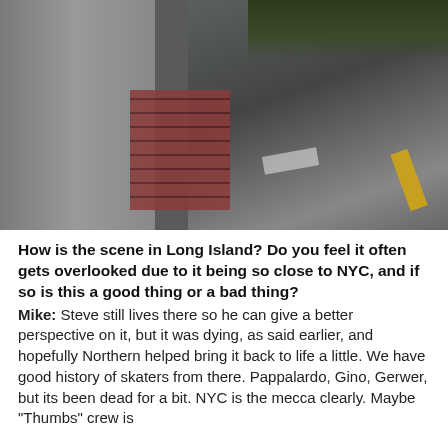[Figure (photo): Close-up photograph of a concrete structure or pillar with exposed brick in the center, and a paved road or surface visible to the right with yellow road markings. Dark vegetation visible in the upper right corner.]
How is the scene in Long Island? Do you feel it often gets overlooked due to it being so close to NYC, and if so is this a good thing or a bad thing? Mike: Steve still lives there so he can give a better perspective on it, but it was dying, as said earlier, and hopefully Northern helped bring it back to life a little. We have good history of skaters from there. Pappalardo, Gino, Gerwer, but its been dead for a bit. NYC is the mecca clearly. Maybe "Thumbs" crew is